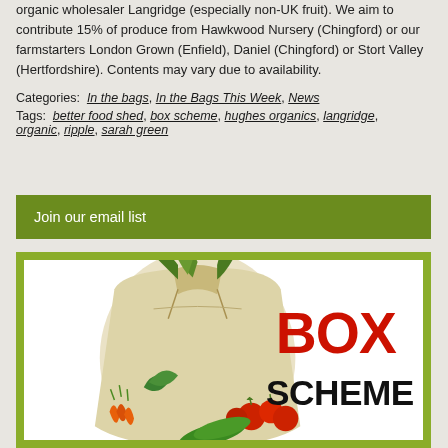organic wholesaler Langridge (especially non-UK fruit). We aim to contribute 15% of produce from Hawkwood Nursery (Chingford) or our farmstarters London Grown (Enfield), Daniel (Chingford) or Stort Valley (Hertfordshire). Contents may vary due to availability.
Categories: In the bags, In the Bags This Week, News
Tags: better food shed, box scheme, hughes organics, langridge, organic, ripple, sarah green
Join our email list
[Figure (illustration): Box scheme promotional image showing a cloth bag full of vegetables (carrots, tomatoes, greens) with large red text 'BOX' and black text 'SCHEME']